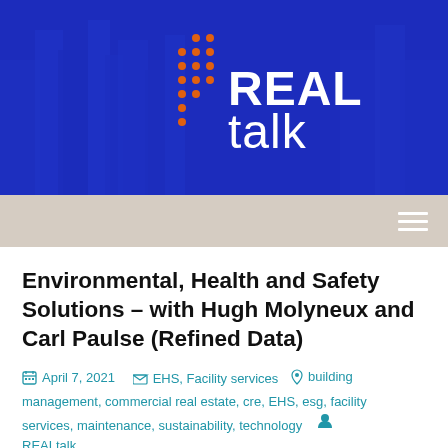[Figure (logo): REAL talk logo with orange dot grid pattern on blue background with city building silhouette]
Environmental, Health and Safety Solutions – with Hugh Molyneux and Carl Paulse (Refined Data)
April 7, 2021   EHS, Facility services   building management, commercial real estate, cre, EHS, esg, facility services, maintenance, sustainability, technology   REALtalk